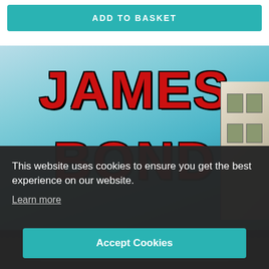[Figure (screenshot): E-commerce page showing an ADD TO BASKET button in teal/turquoise color at the top, followed by a James Bond book cover image with large red text reading JAMES BOND on a blue/teal background, with a building visible on the right edge and a car grille at the bottom.]
This website uses cookies to ensure you get the best experience on our website.
Learn more
Accept Cookies